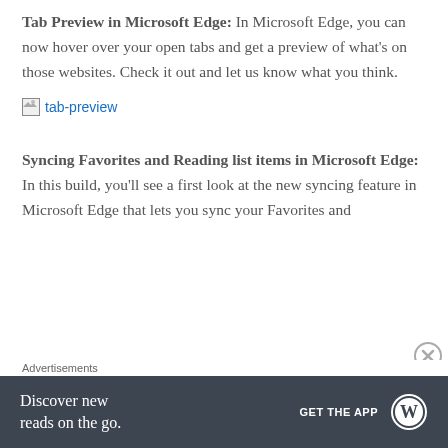Tab Preview in Microsoft Edge: In Microsoft Edge, you can now hover over your open tabs and get a preview of what's on those websites. Check it out and let us know what you think.
[Figure (other): Broken image placeholder with link text 'tab-preview' in blue]
Syncing Favorites and Reading list items in Microsoft Edge: In this build, you'll see a first look at the new syncing feature in Microsoft Edge that lets you sync your Favorites and
Advertisements
[Figure (other): Dark gray advertisement banner for WordPress app: 'Discover new reads on the go.' GET THE APP with WordPress logo]